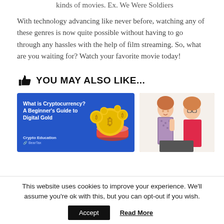kinds of movies. Ex. We Were Soldiers
With technology advancing like never before, watching any of these genres is now quite possible without having to go through any hassles with the help of film streaming. So, what are you waiting for? Watch your favorite movie today!
YOU MAY ALSO LIKE...
[Figure (illustration): Two-column card row: left card is a blue Crypto Education card titled 'What is Cryptocurrency? A Beginner's Guide to Digital Gold' with gold bitcoin coin graphics and BearTax branding; right card shows two women posing together.]
This website uses cookies to improve your experience. We'll assume you're ok with this, but you can opt-out if you wish.